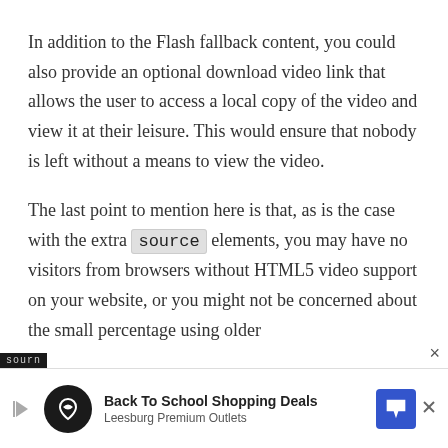In addition to the Flash fallback content, you could also provide an optional download video link that allows the user to access a local copy of the video and view it at their leisure. This would ensure that nobody is left without a means to view the video.
The last point to mention here is that, as is the case with the extra source elements, you may have no visitors from browsers without HTML5 video support on your website, or you might not be concerned about the small percentage using older
[Figure (other): Advertisement banner: Back To School Shopping Deals - Leesburg Premium Outlets]